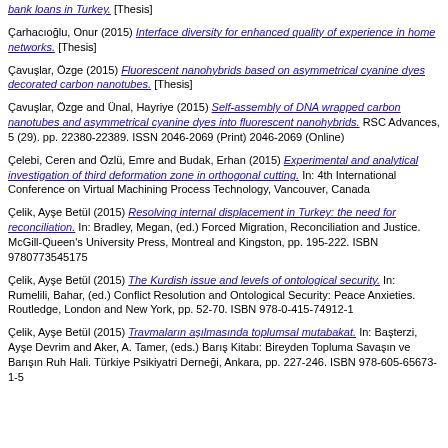bank loans in Turkey. [Thesis]
Çarhacıoğlu, Onur (2015) Interface diversity for enhanced quality of experience in home networks. [Thesis]
Çavuşlar, Özge (2015) Fluorescent nanohybrids based on asymmetrical cyanine dyes decorated carbon nanotubes. [Thesis]
Çavuşlar, Özge and Ünal, Hayriye (2015) Self-assembly of DNA wrapped carbon nanotubes and asymmetrical cyanine dyes into fluorescent nanohybrids. RSC Advances, 5 (29). pp. 22380-22389. ISSN 2046-2069 (Print) 2046-2069 (Online)
Çelebi, Ceren and Özlü, Emre and Budak, Erhan (2015) Experimental and analytical investigation of third deformation zone in orthogonal cutting. In: 4th International Conference on Virtual Machining Process Technology, Vancouver, Canada
Çelik, Ayşe Betül (2015) Resolving internal displacement in Turkey: the need for reconciliation. In: Bradley, Megan, (ed.) Forced Migration, Reconciliation and Justice. McGill-Queen's University Press, Montreal and Kingston, pp. 195-222. ISBN 9780773545175
Çelik, Ayşe Betül (2015) The Kurdish issue and levels of ontological security. In: Rumelili, Bahar, (ed.) Conflict Resolution and Ontological Security: Peace Anxieties. Routledge, London and New York, pp. 52-70. ISBN 978-0-415-74912-1
Çelik, Ayşe Betül (2015) Travmaların aşılmasında toplumsal mutabakat. In: Başterzi, Ayşe Devrim and Aker, A. Tamer, (eds.) Barış Kitabı: Bireyden Topluma Savaşın ve Barışın Ruh Hali. Türkiye Psikiyatri Derneği, Ankara, pp. 227-246. ISBN 978-605-65673-1-5